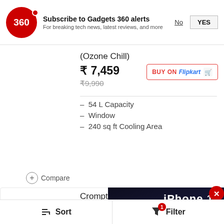[Figure (screenshot): Gadgets 360 notification banner with logo, subscribe message, No and YES buttons]
(Ozone Chill)
₹ 7,459
₹9,990
[Figure (logo): BUY ON Flipkart button]
54 L Capacity
Window
240 sq ft Cooling Area
+ Compare
Crompton Greaves 7 L (Ginie Pac-07)
₹ 3,390
₹4,200
7 L Capacity
Personal
[Figure (screenshot): iPhone 14 review roundup video thumbnail with play button]
Sort   Filter